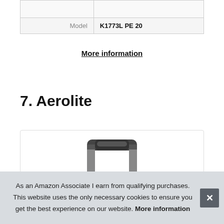|  |  |
| Model | K1773L PE 20 |
More information
7. Aerolite
[Figure (photo): Photo of a wheeled luggage suitcase showing the telescopic handle at the top, partially visible]
As an Amazon Associate I earn from qualifying purchases. This website uses the only necessary cookies to ensure you get the best experience on our website. More information